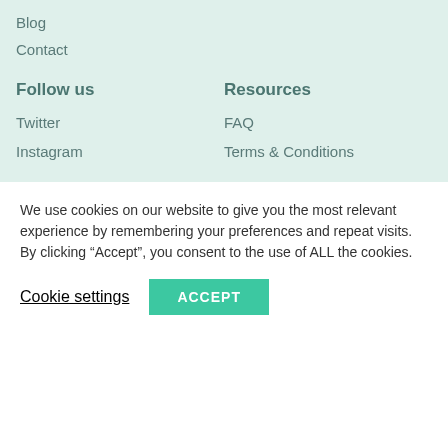Blog
Contact
Follow us
Resources
Twitter
FAQ
Instagram
Terms & Conditions
We use cookies on our website to give you the most relevant experience by remembering your preferences and repeat visits. By clicking “Accept”, you consent to the use of ALL the cookies.
Cookie settings
ACCEPT